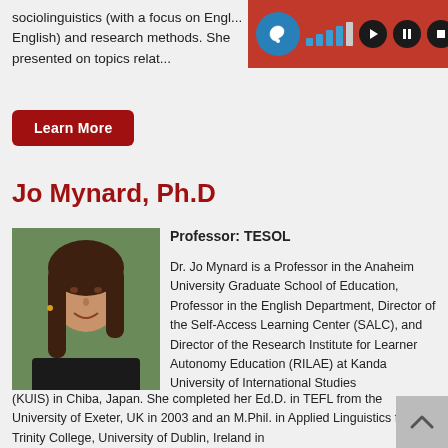sociolinguistics (with a focus on English) and research methods. She presented on topics relat...
[Figure (screenshot): Accessibility audio toolbar with hearing icon, signal bars, play, pause, and stop buttons on red background]
Learn More
Jo Mynard, Ph.D
[Figure (photo): Headshot photo of Jo Mynard, a woman with brown hair, smiling, wearing dark clothing, with green foliage in background]
Professor: TESOL
Dr. Jo Mynard is a Professor in the Anaheim University Graduate School of Education, Professor in the English Department, Director of the Self-Access Learning Center (SALC), and Director of the Research Institute for Learner Autonomy Education (RILAE) at Kanda University of International Studies (KUIS) in Chiba, Japan. She completed her Ed.D. in TEFL from the University of Exeter, UK in 2003 and an M.Phil. in Applied Linguistics from Trinity College, University of Dublin, Ireland in